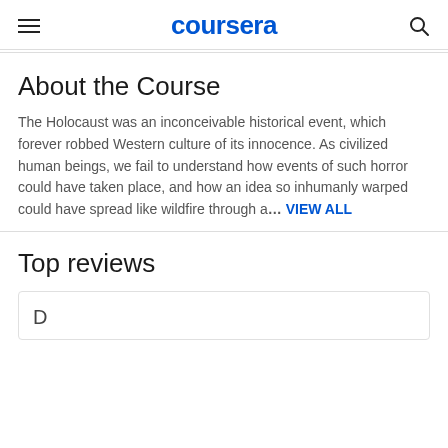coursera
About the Course
The Holocaust was an inconceivable historical event, which forever robbed Western culture of its innocence. As civilized human beings, we fail to understand how events of such horror could have taken place, and how an idea so inhumanly warped could have spread like wildfire through a… VIEW ALL
Top reviews
D